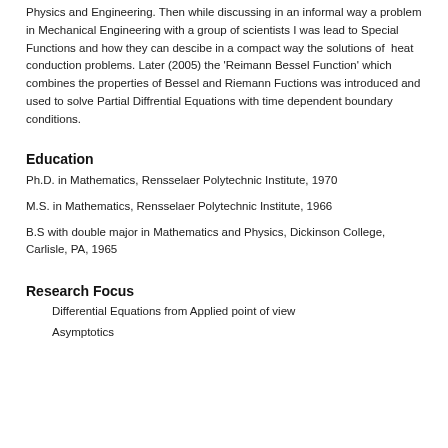Physics and Engineering. Then while discussing in an informal way a problem in Mechanical Engineering with a group of scientists I was lead to Special Functions and how they can descibe in a compact way the solutions of heat conduction problems. Later (2005) the 'Reimann Bessel Function' which combines the properties of Bessel and Riemann Fuctions was introduced and used to solve Partial Diffrential Equations with time dependent boundary conditions.
Education
Ph.D. in Mathematics, Rensselaer Polytechnic Institute, 1970
M.S. in Mathematics, Rensselaer Polytechnic Institute, 1966
B.S with double major in Mathematics and Physics, Dickinson College, Carlisle, PA, 1965
Research Focus
Differential Equations from Applied point of view
Asymptotics